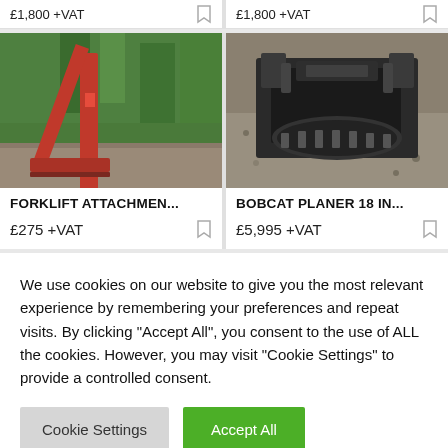[Figure (photo): Red forklift attachment standing outdoors among green trees]
FORKLIFT ATTACHMEN...
£275 +VAT
[Figure (photo): Bobcat planer attachment lying on gravel ground]
BOBCAT PLANER 18 IN...
£5,995 +VAT
We use cookies on our website to give you the most relevant experience by remembering your preferences and repeat visits. By clicking "Accept All", you consent to the use of ALL the cookies. However, you may visit "Cookie Settings" to provide a controlled consent.
Cookie Settings
Accept All